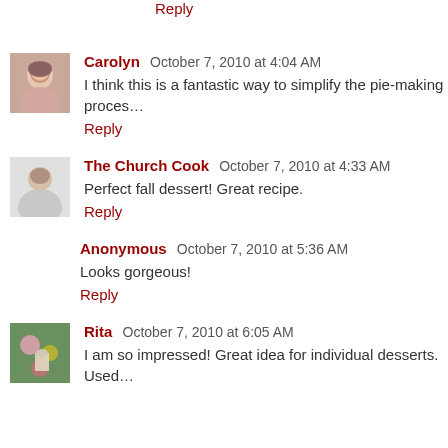Reply
Carolyn  October 7, 2010 at 4:04 AM
I think this is a fantastic way to simplify the pie-making proces…
Reply
The Church Cook  October 7, 2010 at 4:33 AM
Perfect fall dessert! Great recipe.
Reply
Anonymous  October 7, 2010 at 5:36 AM
Looks gorgeous!
Reply
Rita  October 7, 2010 at 6:05 AM
I am so impressed! Great idea for individual desserts. Used…